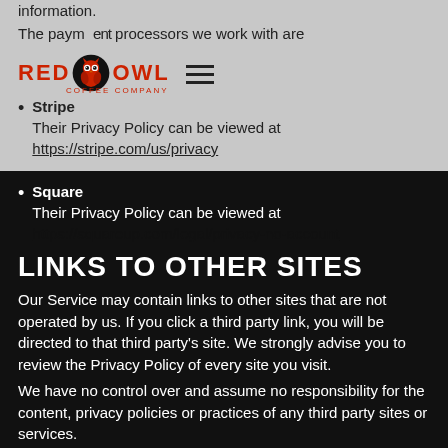information.
The payment processors we work with are
[Figure (logo): Red Owl Coffee Company logo with owl icon and hamburger menu]
Stripe
Their Privacy Policy can be viewed at https://stripe.com/us/privacy
Square
Their Privacy Policy can be viewed at https://squareup.com/legal/privacy-no-account
LINKS TO OTHER SITES
Our Service may contain links to other sites that are not operated by us. If you click a third party link, you will be directed to that third party's site. We strongly advise you to review the Privacy Policy of every site you visit.
We have no control over and assume no responsibility for the content, privacy policies or practices of any third party sites or services.
CHILDREN'S PRIVACY